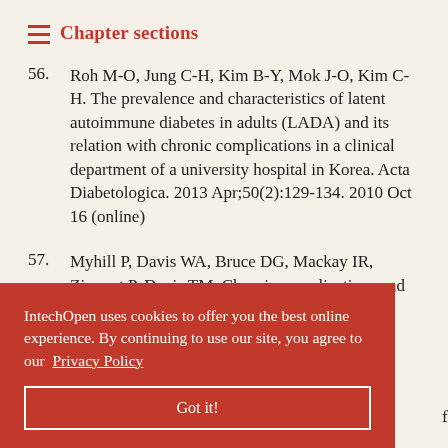Chapter sections
56. Roh M-O, Jung C-H, Kim B-Y, Mok J-O, Kim C-H. The prevalence and characteristics of latent autoimmune diabetes in adults (LADA) and its relation with chronic complications in a clinical department of a university hospital in Korea. Acta Diabetologica. 2013 Apr;50(2):129-134. 2010 Oct 16 (online)
57. Myhill P, Davis WA, Bruce DG, Mackay IR, Zimmet P, Davis TM. Chronic complications and mortality in community-based patients with ... The ... Medicine.
IntechOpen uses cookies to offer you the best online experience. By continuing to use our site, you agree to our Privacy Policy
Got it!
...ctive protein ...for screening and primary prevention. The American Journal